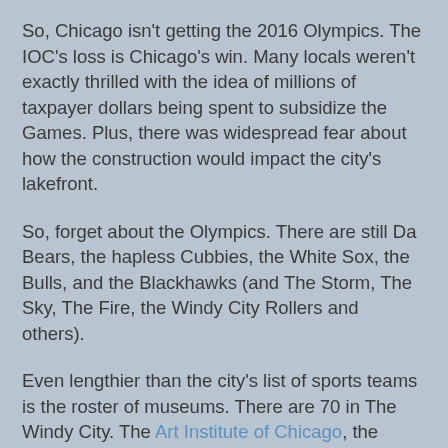So, Chicago isn't getting the 2016 Olympics. The IOC's loss is Chicago's win. Many locals weren't exactly thrilled with the idea of millions of taxpayer dollars being spent to subsidize the Games. Plus, there was widespread fear about how the construction would impact the city's lakefront.
So, forget about the Olympics. There are still Da Bears, the hapless Cubbies, the White Sox, the Bulls, and the Blackhawks (and The Storm, The Sky, The Fire, the Windy City Rollers and others).
Even lengthier than the city's list of sports teams is the roster of museums. There are 70 in The Windy City. The Art Institute of Chicago, the country's second largest museum, is sporting a new modern wing, designed by Renzo Piano. Just opened in May, the wing features 20th and 21th century European art. If you are drawn to older masterpieces, you'll find plenty in the "old wing." To wit, there are 3,500 European works dating from the 12th through the mid-20th century. Holdings include a rare group of 15th-century Spanish, Italian and Northern European paintings, an important collection of French Impressionist paintings, and European